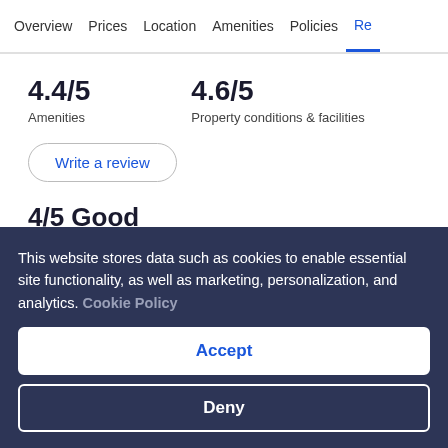Overview  Prices  Location  Amenities  Policies  Re
4.4/5
Amenities
4.6/5
Property conditions & facilities
Write a review
4/5 Good
Laura
Travelled with family
This website stores data such as cookies to enable essential site functionality, as well as marketing, personalization, and analytics. Cookie Policy
Accept
Deny